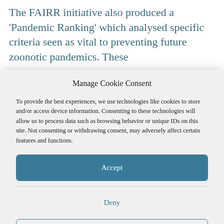The FAIRR initiative also produced a 'Pandemic Ranking' which analysed specific criteria seen as vital to preventing future zoonotic pandemics. These
Manage Cookie Consent
To provide the best experiences, we use technologies like cookies to store and/or access device information. Consenting to these technologies will allow us to process data such as browsing behavior or unique IDs on this site. Not consenting or withdrawing consent, may adversely affect certain features and functions.
Accept
Deny
View preferences
Privacy